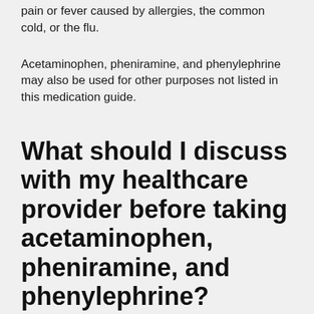pain or fever caused by allergies, the common cold, or the flu.
Acetaminophen, pheniramine, and phenylephrine may also be used for other purposes not listed in this medication guide.
What should I discuss with my healthcare provider before taking acetaminophen, pheniramine, and phenylephrine?
Ask a doctor before taking medicine that contains